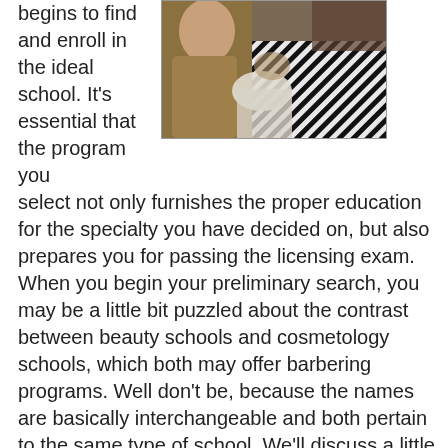begins to find and enroll in the ideal school. It's essential that the program you select not only furnishes the proper education for the specialty you have decided on, but also prepares you for passing the licensing exam. When you begin your preliminary search, you may be a little bit puzzled about the contrast between beauty schools and cosmetology schools, which both may offer barbering programs. Well don't be, because the names are basically interchangeable and both pertain to the same type of school. We'll discuss a little bit more regarding that in the following section. If you anticipate commuting to classes you will need to find a school that is within driving distance of your Pocahontas home. Tuition will additionally be an important consideration when reviewing prospective barber schools. Just keep in mind that because a school is the nearest or the cheapest it's not always the ideal
[Figure (photo): A photo showing a barber or cosmetology student working on a client, with striped fabric or clothing visible]